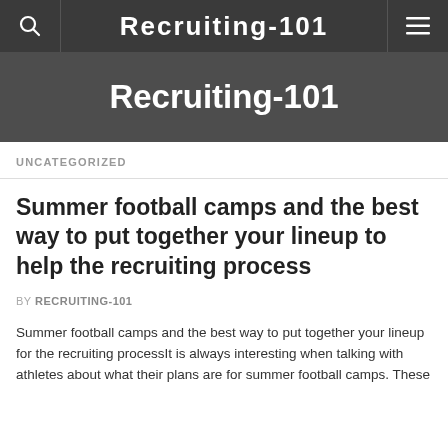Recruiting-101
UNCATEGORIZED
Summer football camps and the best way to put together your lineup to help the recruiting process
BY RECRUITING-101
Summer football camps and the best way to put together your lineup for the recruiting processIt is always interesting when talking with athletes about what their plans are for summer football camps. These